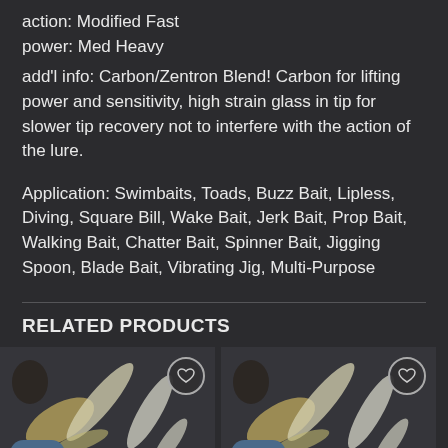action: Modified Fast
power: Med Heavy
add'l info: Carbon/Zentron Blend! Carbon for lifting power and sensitivity, high strain glass in tip for slower tip recovery not to interfere with the action of the lure.
Application: Swimbaits, Toads, Buzz Bait, Lipless, Diving, Square Bill, Wake Bait, Jerk Bait, Prop Bait, Walking Bait, Chatter Bait, Spinner Bait, Jigging Spoon, Blade Bait, Vibrating Jig, Multi-Purpose
RELATED PRODUCTS
[Figure (photo): Product card showing fishing lures on dark background with 'New' badge and heart icon]
[Figure (photo): Product card showing fishing lures on dark background with 'New' badge and heart icon]